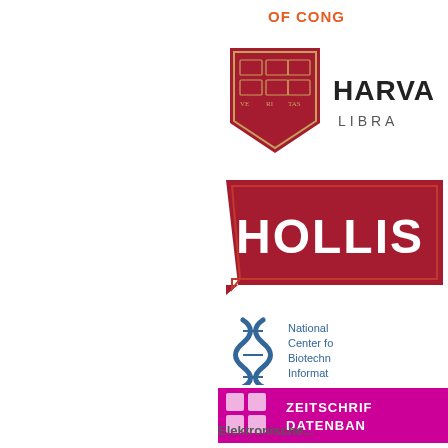[Figure (logo): Library of Congress logo (OF CONG... text in orange/red, partially cropped at top right)]
[Figure (logo): Harvard Library logo with crimson shield crest and text HARVA... LIBRA... (partially cropped at right)]
[Figure (logo): HOLLIS logo - crimson/red rectangular banner with white text HOLLIS (partially cropped at right)]
[Figure (logo): NCBI - National Center for Biotechnology Information logo with blue snake/ribbon icon and blue text, partially cropped at right]
[Figure (logo): Zeitschriftendatenbank (ZDB) logo - magenta/pink background with white stylized ZDB icon and white text ZEITSCHRIF... DATENBAN... partially cropped]
[Figure (logo): BSZ - Bibliotheksservice-Zentrum Baden-Württemberg logo with colorful BSZ letters and small text]
[Figure (logo): EZB - Elektronische Zeitschriftenbibliothek logo with colored dots (green, orange, red) forming E shape and grey ZB letters, partially cropped]
Elektronische...